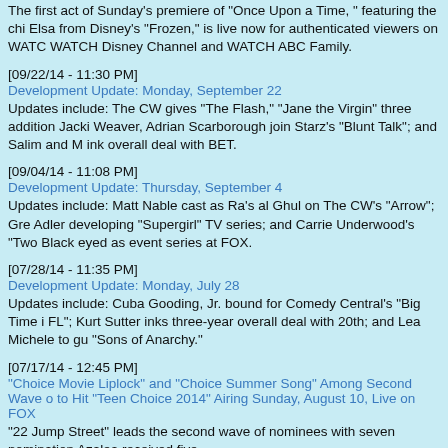The first act of Sunday's premiere of "Once Upon a Time, " featuring the chi Elsa from Disney's "Frozen," is live now for authenticated viewers on WATC WATCH Disney Channel and WATCH ABC Family.
[09/22/14 - 11:30 PM]
Development Update: Monday, September 22
Updates include: The CW gives "The Flash," "Jane the Virgin" three addition Jacki Weaver, Adrian Scarborough join Starz's "Blunt Talk"; and Salim and M ink overall deal with BET.
[09/04/14 - 11:08 PM]
Development Update: Thursday, September 4
Updates include: Matt Nable cast as Ra's al Ghul on The CW's "Arrow"; Gre Adler developing "Supergirl" TV series; and Carrie Underwood's "Two Black eyed as event series at FOX.
[07/28/14 - 11:35 PM]
Development Update: Monday, July 28
Updates include: Cuba Gooding, Jr. bound for Comedy Central's "Big Time i FL"; Kurt Sutter inks three-year overall deal with 20th; and Lea Michele to gu "Sons of Anarchy."
[07/17/14 - 12:45 PM]
"Choice Movie Liplock" and "Choice Summer Song" Among Second Wave o to Hit "Teen Choice 2014" Airing Sunday, August 10, Live on FOX
"22 Jump Street" leads the second wave of nominees with seven nomination Azalea received five.